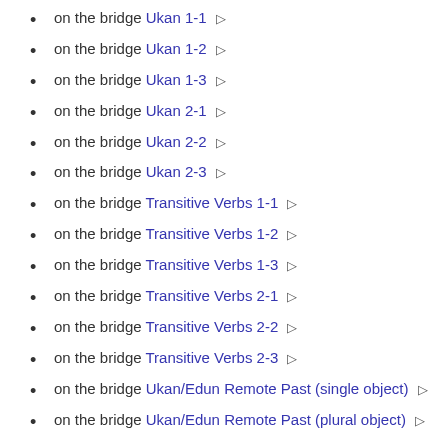on the bridge Ukan 1-1 🔊
on the bridge Ukan 1-2 🔊
on the bridge Ukan 1-3 🔊
on the bridge Ukan 2-1 🔊
on the bridge Ukan 2-2 🔊
on the bridge Ukan 2-3 🔊
on the bridge Transitive Verbs 1-1 🔊
on the bridge Transitive Verbs 1-2 🔊
on the bridge Transitive Verbs 1-3 🔊
on the bridge Transitive Verbs 2-1 🔊
on the bridge Transitive Verbs 2-2 🔊
on the bridge Transitive Verbs 2-3 🔊
on the bridge Ukan/Edun Remote Past (single object) 🔊
on the bridge Ukan/Edun Remote Past (plural object) 🔊